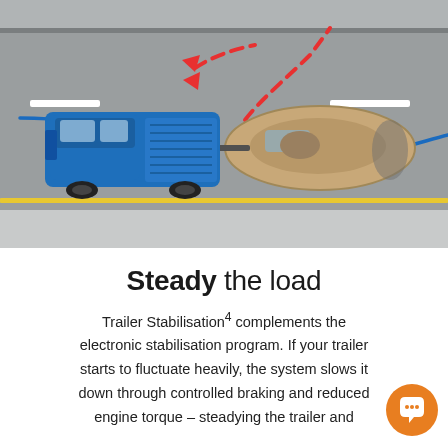[Figure (illustration): Aerial top-down view of a blue pickup truck towing a boat on a road. Red dashed arrows show the trailer swaying/fishtailing path, blue lines show the corrected stable path. Yellow lane divider visible at bottom.]
Steady the load
Trailer Stabilisation4 complements the electronic stabilisation program. If your trailer starts to fluctuate heavily, the system slows it down through controlled braking and reduced engine torque – steadying the trailer and